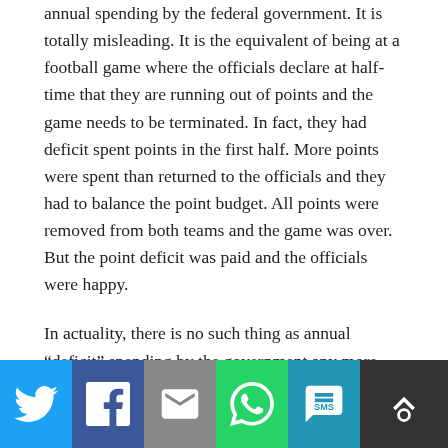annual spending by the federal government. It is totally misleading. It is the equivalent of being at a football game where the officials declare at half-time that they are running out of points and the game needs to be terminated. In fact, they had deficit spent points in the first half. More points were spent than returned to the officials and they had to balance the point budget. All points were removed from both teams and the game was over. But the point deficit was paid and the officials were happy.
In actuality, there is no such thing as annual “deficit” spending by the government any more than there is a point deficit at a football game. Neither annual government spending nor points at a football game ever need to be “paid back” and neither future children or future games are burdened by any lack of dollars or points.
[Figure (infographic): Social share bar with Twitter, Facebook, Email, WhatsApp, SMS, and scroll-up buttons]